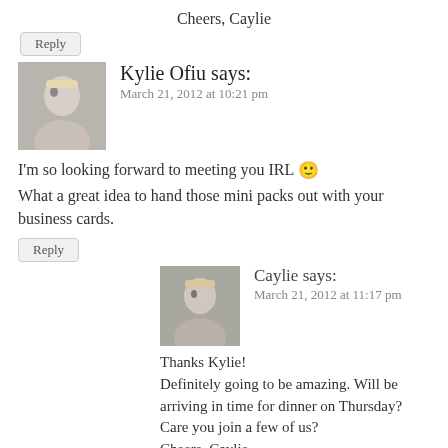Cheers, Caylie
Reply
Kylie Ofiu says:
March 21, 2012 at 10:21 pm
I'm so looking forward to meeting you IRL 🙂 What a great idea to hand those mini packs out with your business cards.
Reply
Caylie says:
March 21, 2012 at 11:17 pm
Thanks Kylie!
Definitely going to be amazing. Will be arriving in time for dinner on Thursday? Care you join a few of us?
Cheers, Caylie
Reply